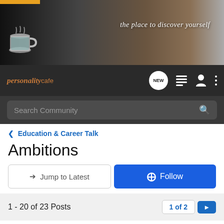[Figure (screenshot): Website header banner with dark background, coffee cup image, and italic script text 'the place to discover yourself']
personalitycafe
Search Community
< Education & Career Talk
Ambitions
→ Jump to Latest
+ Follow
1 - 20 of 23 Posts
1 of 2
sonicdrink · Registered